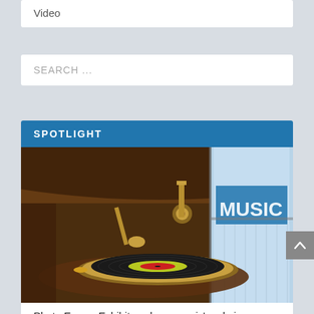Video
SEARCH ...
SPOTLIGHT
[Figure (photo): Close-up photograph of a vintage gramophone/record player with a vinyl record on the turntable. In the background, a 'MUSIC' sign is visible through a window. The gramophone has a brass tonearm and the record has a red label.]
Photo Essay: Exhibit explores music's role in